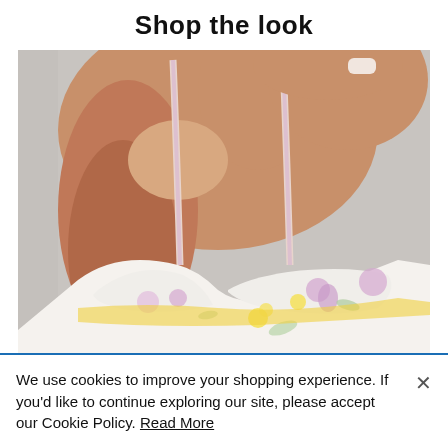Shop the look
[Figure (photo): Close-up photo of a woman wearing a white floral print bralette/bikini top with pastel purple and yellow flowers, shoulder straps visible, model's neck and chin visible at top]
We use cookies to improve your shopping experience. If you'd like to continue exploring our site, please accept our Cookie Policy. Read More